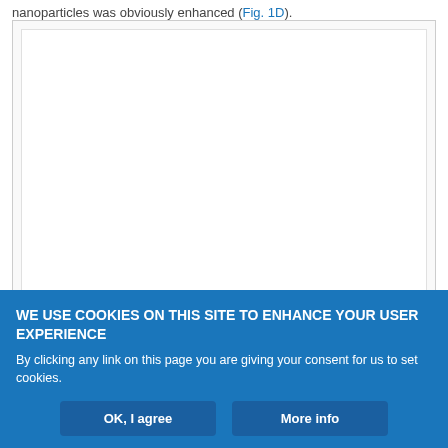nanoparticles was obviously enhanced (Fig. 1D).
[Figure (photo): White/blank figure placeholder box with light gray border]
WE USE COOKIES ON THIS SITE TO ENHANCE YOUR USER EXPERIENCE
By clicking any link on this page you are giving your consent for us to set cookies.
OK, I agree | More info